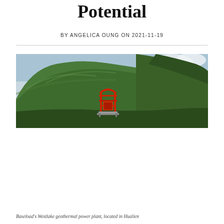Potential
BY ANGELICA OUNG ON 2021-11-19
[Figure (photo): Aerial landscape photograph showing a lush green forested hillside with a red geothermal wellhead structure in the foreground, misty mountains in the background. This is Baseload's Westlake geothermal power plant located in Hualien.]
Baseload's Westlake geothermal power plant, located in Hualien